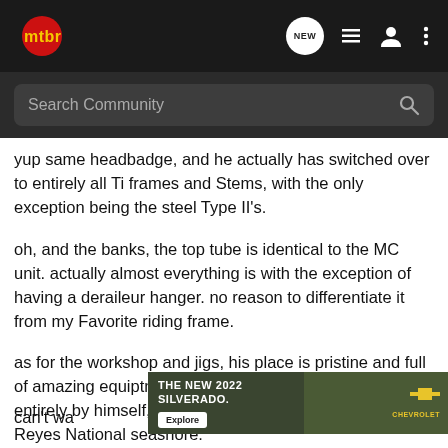mtbr — navigation bar with NEW, list, person, and more icons; Search Community search bar
yup same headbadge, and he actually has switched over to entirely all Ti frames and Stems, with the only exception being the steel Type II's.
oh, and the banks, the top tube is identical to the MC unit. actually almost everything is with the exception of having a deraileur hanger. no reason to differentiate it from my Favorite riding frame.
as for the workshop and jigs, his place is pristine and full of amazing equiptment, plus he built the workshop entirely by himself, and has an amazing view of Point Reyes National seashore.
[Figure (other): Advertisement banner for The New 2022 Silverado by Chevrolet, showing a truck in a field with an Explore button]
can't wa